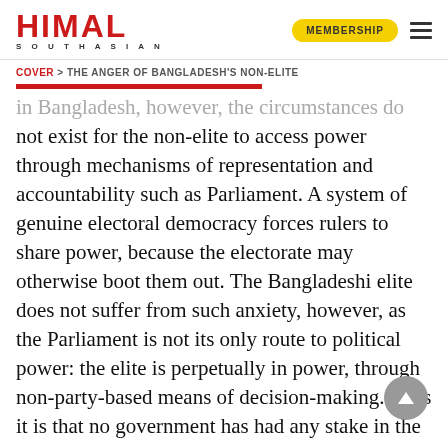HIMAL SOUTHASIAN | MEMBERSHIP
COVER > THE ANGER OF BANGLADESH'S NON-ELITE
in Bangladesh, however, the circumstances do not exist for the non-elite to access power through mechanisms of representation and accountability such as Parliament. A system of genuine electoral democracy forces rulers to share power, because the electorate may otherwise boot them out. The Bangladeshi elite does not suffer from such anxiety, however, as the Parliament is not its only route to political power: the elite is perpetually in power, through non-party-based means of decision-making. Thus it is that no government has had any stake in the